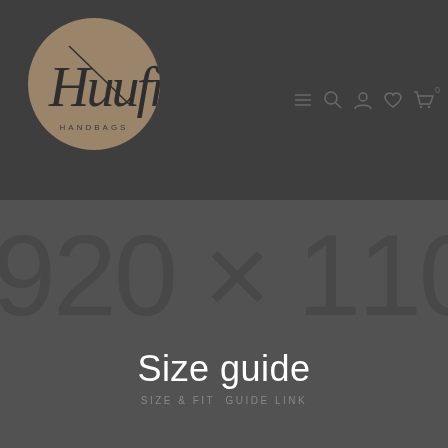[Figure (logo): Huufi Handbags logo: circular brown/tan background with handwritten script 'Huufi' text and 'HANDBAGS' subtitle below]
[Figure (infographic): Navigation bar icons: hamburger menu, search, user account, heart/wishlist, and shopping cart with 0 badge]
920 x 1100
Size guide
SIZE & FIT  GUIDE LINK